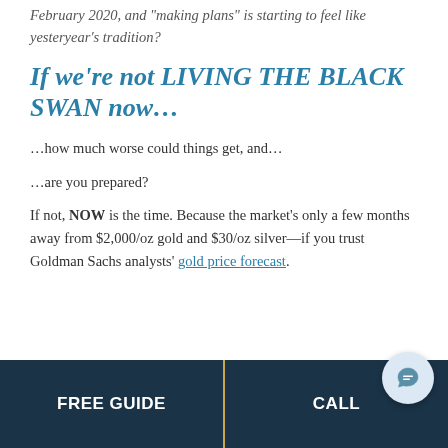Every day is uncertain since the pandemic hit in February 2020, and “making plans” is starting to feel like yesteryear’s tradition?
If we’re not LIVING THE BLACK SWAN now…
…how much worse could things get, and…
…are you prepared?
If not, NOW is the time. Because the market’s only a few months away from $2,000/oz gold and $30/oz silver—if you trust Goldman Sachs analysts’ gold price forecast.
FREE GUIDE | CALL